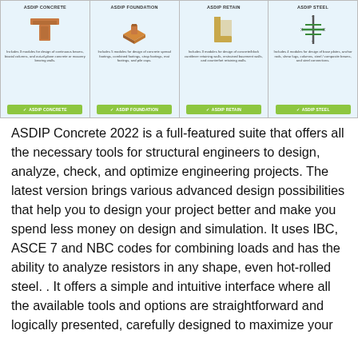[Figure (screenshot): Four product cards side by side: ASDIP CONCRETE (T-beam icon), ASDIP FOUNDATION (footing icon), ASDIP RETAIN (retaining wall icon), ASDIP STEEL (steel section icon), each with a short description and a green button.]
ASDIP Concrete 2022 is a full-featured suite that offers all the necessary tools for structural engineers to design, analyze, check, and optimize engineering projects. The latest version brings various advanced design possibilities that help you to design your project better and make you spend less money on design and simulation. It uses IBC, ASCE 7 and NBC codes for combining loads and has the ability to analyze resistors in any shape, even hot-rolled steel. . It offers a simple and intuitive interface where all the available tools and options are straightforward and logically presented, carefully designed to maximize your